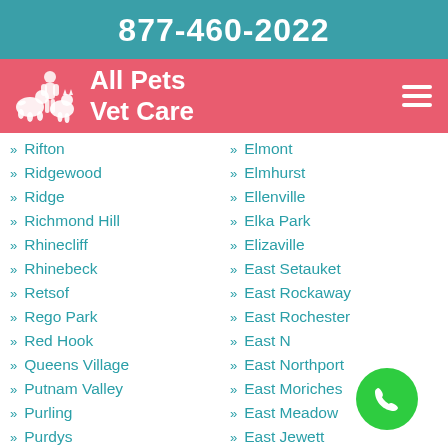877-460-2022
[Figure (logo): All Pets Vet Care logo with white animal silhouettes on pink bar]
Rifton
Ridgewood
Ridge
Richmond Hill
Rhinecliff
Rhinebeck
Retsof
Rego Park
Red Hook
Queens Village
Putnam Valley
Purling
Purdys
Elmont
Elmhurst
Ellenville
Elka Park
Elizaville
East Setauket
East Rockaway
East Rochester
East N...
East Northport
East Moriches
East Meadow
East Jewett